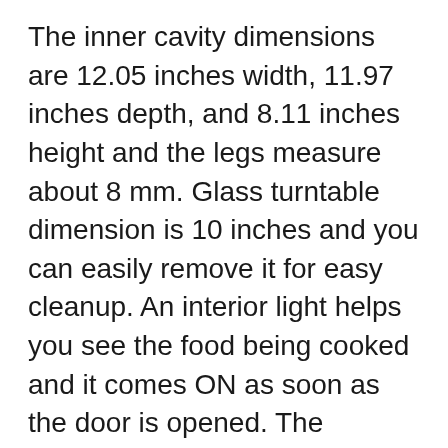The inner cavity dimensions are 12.05 inches width, 11.97 inches depth, and 8.11 inches height and the legs measure about 8 mm. Glass turntable dimension is 10 inches and you can easily remove it for easy cleanup. An interior light helps you see the food being cooked and it comes ON as soon as the door is opened. The Black+Decker EM720CB7’s cord length is about 1 meter.
The unit is noisy and there is no facility for turning off the buzzer. However, the compact and cute unit is well-suited for small and crowded kitchens and can be placed inside cabinets as well. The sleak